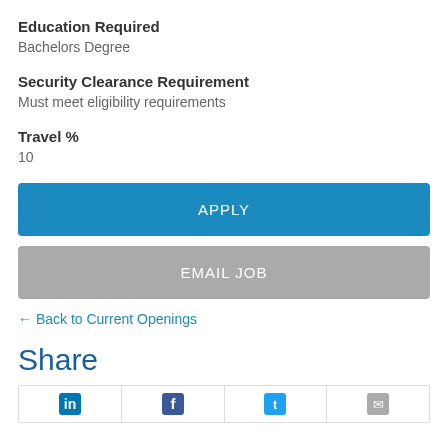Education Required
Bachelors Degree
Security Clearance Requirement
Must meet eligibility requirements
Travel %
10
APPLY
EMAIL JOB
← Back to Current Openings
Share
[Figure (other): Row of social sharing icons: LinkedIn, Facebook, Twitter, and email/more]